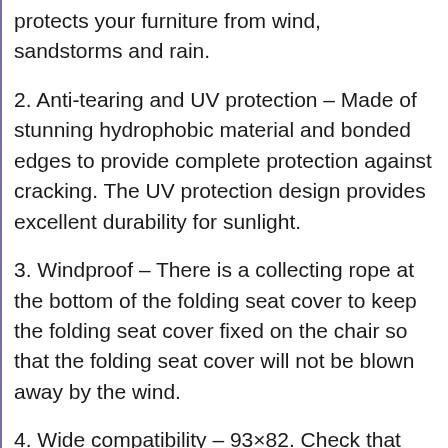protects your furniture from wind, sandstorms and rain.
2. Anti-tearing and UV protection – Made of stunning hydrophobic material and bonded edges to provide complete protection against cracking. The UV protection design provides excellent durability for sunlight.
3. Windproof – There is a collecting rope at the bottom of the folding seat cover to keep the folding seat cover fixed on the chair so that the folding seat cover will not be blown away by the wind.
4. Wide compatibility – 93×82. Check that your furniture and equipment are the right size. This cover